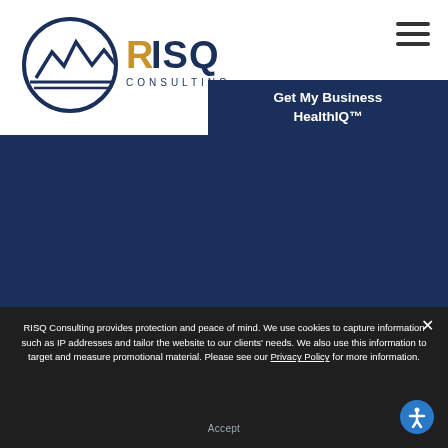[Figure (logo): RISQ Consulting logo — circular mountain/wave emblem in dark navy blue, with 'RISQ' text in gold/orange and navy, and 'CONSULTING' below in navy]
[Figure (other): Hamburger menu icon (three horizontal lines)]
Get My Business HealthIQ™
[Figure (other): Dark navy blue background band]
RISQ Consulting provides protection and peace of mind. We use cookies to capture information such as IP addresses and tailor the website to our clients' needs. We also use this information to target and measure promotional material. Please see our Privacy Policy for more information.
Accept